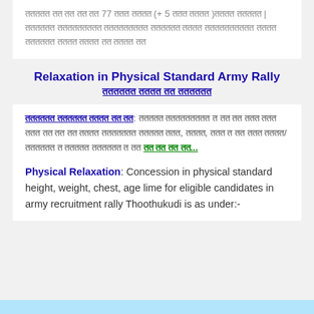ततततत तत तत तत तत 77 ततत तततत (+ 5 ततत तततत )तततत ततततत | तततततत ततततततततत ततततततततत तततततत तततत तततततततततत तततत तततततत तततत तततत तत तततत तत
Relaxation in Physical Standard Army Rally / तततततत तततत तत तततततत
तततततत तततततत तततत तत तत: ततततत ततततततततत त तत तत ततत ततत ततत तत तत तत तततत ततततततत ततततत ततत, तततत, ततत त तत ततत तततत/ तततततत त ततततत तततततत त तत तत तत तत तत...
Physical Relaxation: Concession in physical standard height, weight, chest, age lime for eligible candidates in army recruitment rally Thoothukudi is as under:-